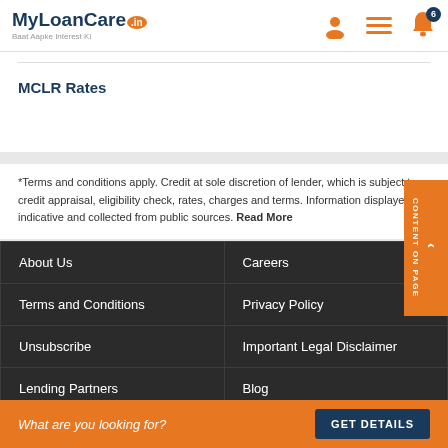MyLoanCare.in - Baat Aapke Interest Ki
MCLR Rates
*Terms and conditions apply. Credit at sole discretion of lender, which is subject to credit appraisal, eligibility check, rates, charges and terms. Information displayed is indicative and collected from public sources. Read More
About Us
Careers
Terms and Conditions
Privacy Policy
Unsubscribe
Important Legal Disclaimer
Lending Partners
Blog
What are you looking for?
GET DETAILS